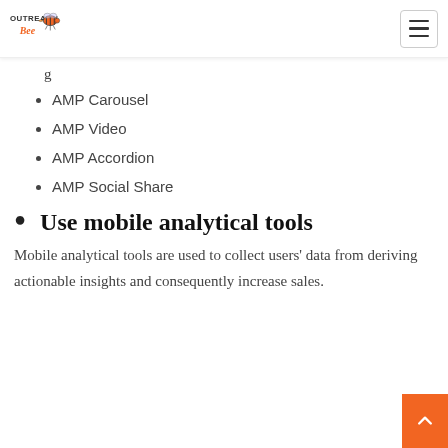Outreach Bee — navigation bar with logo and hamburger menu
AMP Carousel
AMP Video
AMP Accordion
AMP Social Share
Use mobile analytical tools
Mobile analytical tools are used to collect users' data from deriving actionable insights and consequently increase sales.